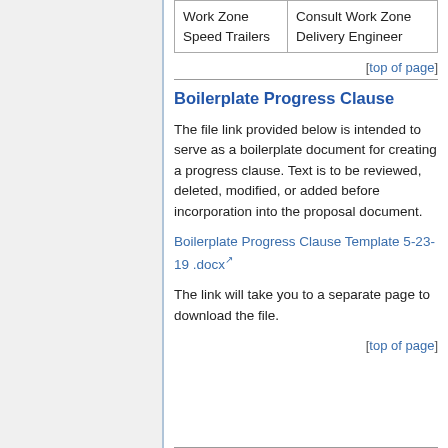|  |  |
| --- | --- |
| Work Zone Speed Trailers | Consult Work Zone Delivery Engineer |
[top of page]
Boilerplate Progress Clause
The file link provided below is intended to serve as a boilerplate document for creating a progress clause. Text is to be reviewed, deleted, modified, or added before incorporation into the proposal document.
Boilerplate Progress Clause Template 5-23-19 .docx
The link will take you to a separate page to download the file.
[top of page]